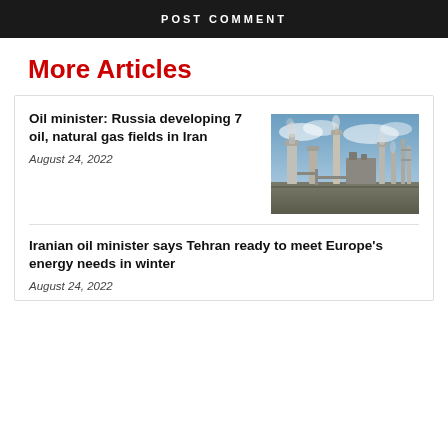POST COMMENT
More Articles
Oil minister: Russia developing 7 oil, natural gas fields in Iran
August 24, 2022
[Figure (photo): Industrial oil refinery or petrochemical plant with towers and pipelines under a cloudy sky]
Iranian oil minister says Tehran ready to meet Europe’s energy needs in winter
August 24, 2022